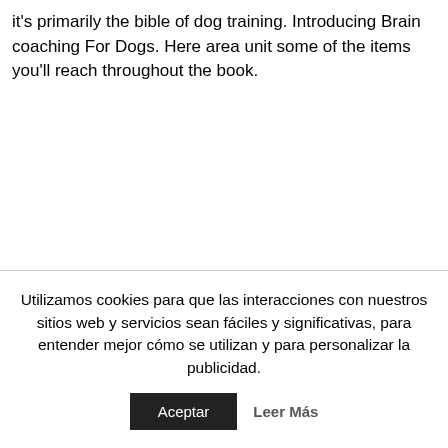it's primarily the bible of dog training. Introducing Brain coaching For Dogs. Here area unit some of the items you'll reach throughout the book.
Utilizamos cookies para que las interacciones con nuestros sitios web y servicios sean fáciles y significativas, para entender mejor cómo se utilizan y para personalizar la publicidad.